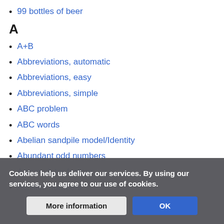99 bottles of beer
A
A+B
Abbreviations, automatic
Abbreviations, easy
Abbreviations, simple
ABC problem
ABC words
Abelian sandpile model/Identity
Abundant odd numbers
Accumulator factory
Achilles numbers
Cookies help us deliver our services. By using our services, you agree to our use of cookies.